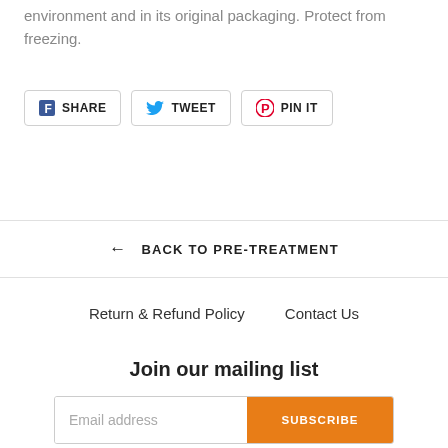environment and in its original packaging. Protect from freezing.
[Figure (other): Social share buttons: Facebook SHARE, Twitter TWEET, Pinterest PIN IT]
← BACK TO PRE-TREATMENT
Return & Refund Policy   Contact Us
Join our mailing list
Email address  SUBSCRIBE